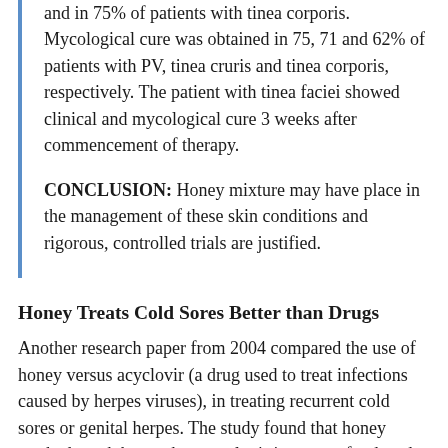and in 75% of patients with tinea corporis. Mycological cure was obtained in 75, 71 and 62% of patients with PV, tinea cruris and tinea corporis, respectively. The patient with tinea faciei showed clinical and mycological cure 3 weeks after commencement of therapy.
CONCLUSION: Honey mixture may have place in the management of these skin conditions and rigorous, controlled trials are justified.
Honey Treats Cold Sores Better than Drugs
Another research paper from 2004 compared the use of honey versus acyclovir (a drug used to treat infections caused by herpes viruses), in treating recurrent cold sores or genital herpes. The study found that honey worked much better than acyclovir in terms of reduced attacks and pain, occurrence of crusting, and healing time. The people who used honey instead of acyclovir